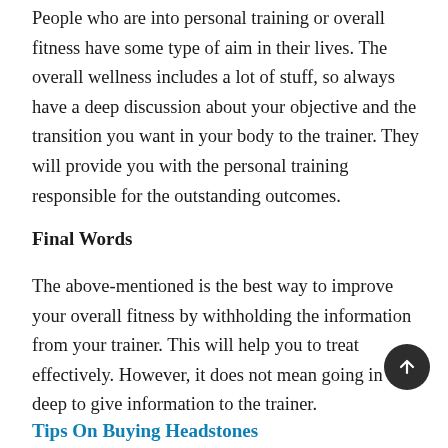People who are into personal training or overall fitness have some type of aim in their lives. The overall wellness includes a lot of stuff, so always have a deep discussion about your objective and the transition you want in your body to the trainer. They will provide you with the personal training responsible for the outstanding outcomes.
Final Words
The above-mentioned is the best way to improve your overall fitness by withholding the information from your trainer. This will help you to treat effectively. However, it does not mean going in deep to give information to the trainer.
Tips On Buying Headstones